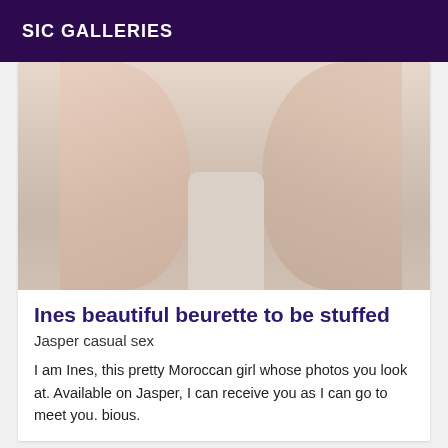SIC GALLERIES
[Figure (photo): Close-up photo of a person's bare legs against a light background]
Ines beautiful beurette to be stuffed
Jasper casual sex
I am Ines, this pretty Moroccan girl whose photos you look at. Available on Jasper, I can receive you as I can go to meet you. bious.